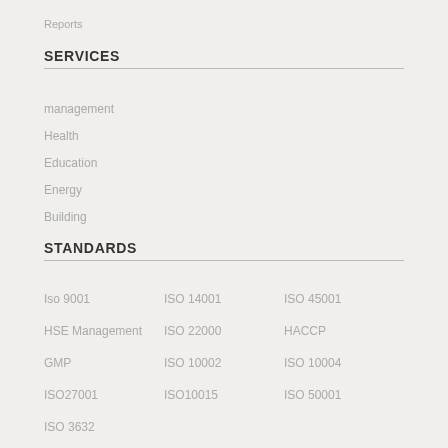Reports
SERVICES
management
Health
Education
Energy
Building
STANDARDS
Iso 9001
ISO 14001
ISO 45001
HSE Management
ISO 22000
HACCP
GMP
ISO 10002
ISO 10004
ISO27001
ISO10015
ISO 50001
ISO 3632